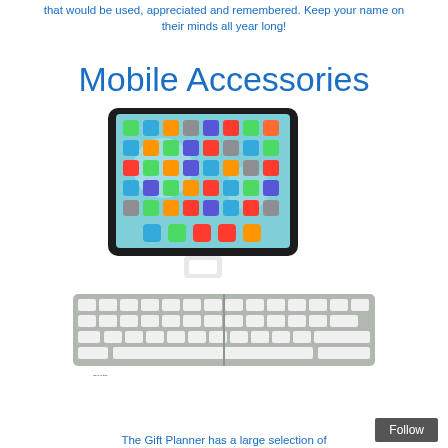that would be used, appreciated and remembered. Keep your name on their minds all year long!
Mobile Accessories
[Figure (photo): Photo of an iPad tablet propped up in a stand connected to a foldable Bluetooth keyboard below it]
The Gift Planner has a large selection of